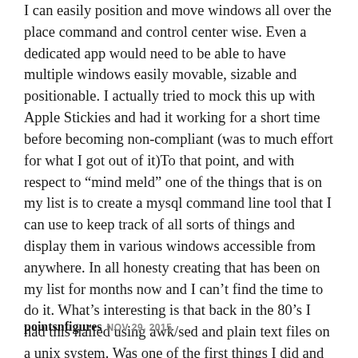I can easily position and move windows all over the place command and control center wise. Even a dedicated app would need to be able to have multiple windows easily movable, sizable and positionable. I actually tried to mock this up with Apple Stickies and had it working for a short time before becoming non-compliant (was to much effort for what I got out of it)To that point, and with respect to “mind meld” one of the things that is on my list is to create a mysql command line tool that I can use to keep track of all sorts of things and display them in various windows accessible from anywhere. In all honesty creating that has been on my list for months now and I can’t find the time to do it. What’s interesting is that back in the 80’s I had this nailed using awk/sed and plain text files on a unix system. Was one of the first things I did and it was super helpful.
pointsnfigures NOV 29, 2015